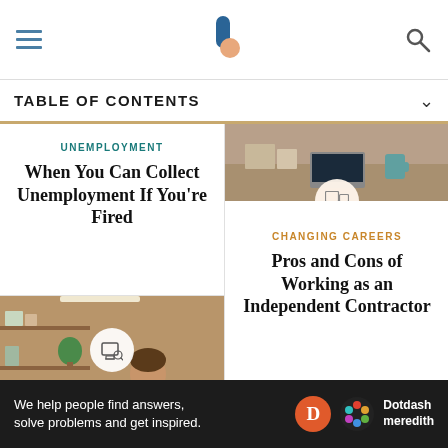TABLE OF CONTENTS
UNEMPLOYMENT
When You Can Collect Unemployment If You're Fired
[Figure (photo): Person sitting at desk working on laptop in modern office/home office setting with shelves in background]
[Figure (photo): Office desk with laptop and documents - header image for Changing Careers article]
CHANGING CAREERS
Pros and Cons of Working as an Independent Contractor
[Figure (photo): Social security cards fanned out showing the word SOCIAL and a portrait from US currency]
UNEMPLOYMENT
We help people find answers, solve problems and get inspired. Dotdash meredith